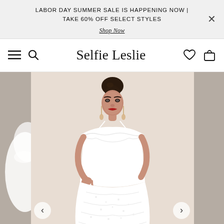LABOR DAY SUMMER SALE IS HAPPENING NOW | TAKE 60% OFF SELECT STYLES
Shop Now
[Figure (screenshot): Selfie Leslie e-commerce website header with hamburger menu, search icon, logo, heart and bag icons]
[Figure (photo): A woman wearing a white off-shoulder cold-shoulder ruffled lace dress, posed against a beige/cream background. A partial view of another white outfit is visible on the left edge.]